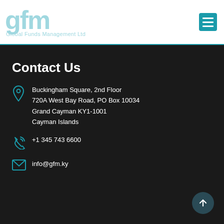gfm Global Funds Management Ltd
Contact Us
Buckingham Square, 2nd Floor
720A West Bay Road, PO Box 10034
Grand Cayman KY1-1001
Cayman Islands
+1 345 743 6600
info@gfm.ky